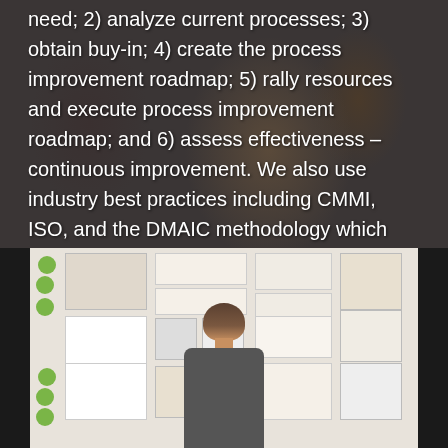need; 2) analyze current processes; 3) obtain buy-in; 4) create the process improvement roadmap; 5) rally resources and execute process improvement roadmap; and 6) assess effectiveness – continuous improvement. We also use industry best practices including CMMI, ISO, and the DMAIC methodology which consists of logical phases from defining to controlling improvements to solidify successful organizational and business process changes.
[Figure (photo): A person viewed from behind standing in front of a large wall covered with sticky notes, papers, charts, and planning documents, suggesting a planning or brainstorming session.]